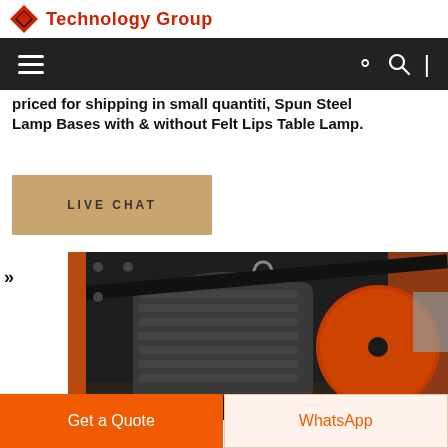Technology Group
priced for shipping in small quantiti, Spun Steel Lamp Bases with & without Felt Lips Table Lamp.
LIVE CHAT
[Figure (photo): Industrial motor/machinery — a large electric motor with an orange/red disc flywheel mounted on a metal frame, photographed in a workshop setting.]
Get a Quote
WhatsApp